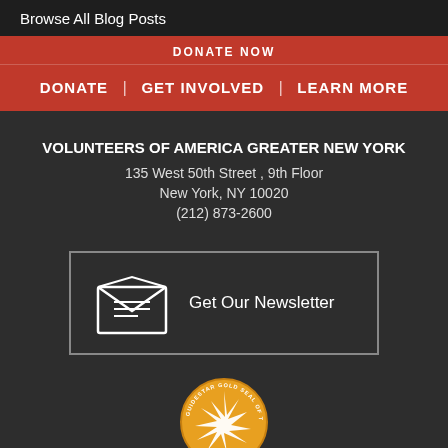Browse All Blog Posts
DONATE NOW
DONATE | GET INVOLVED | LEARN MORE
VOLUNTEERS OF AMERICA GREATER NEW YORK
135 West 50th Street , 9th Floor
New York, NY 10020
(212) 873-2600
[Figure (infographic): Newsletter signup box with envelope icon and text 'Get Our Newsletter']
[Figure (logo): Guidestar Gold Seal of Transparency badge]